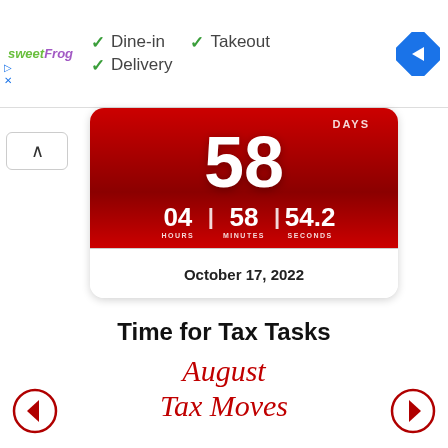[Figure (screenshot): Ad banner showing sweetFrog logo with checkmarks for Dine-in, Takeout, Delivery options and a Google Maps navigation icon]
[Figure (infographic): Red countdown timer widget showing 58 DAYS, 04 hours, 58 minutes, 54.2 seconds until October 17, 2022]
Time for Tax Tasks
August
Tax Moves